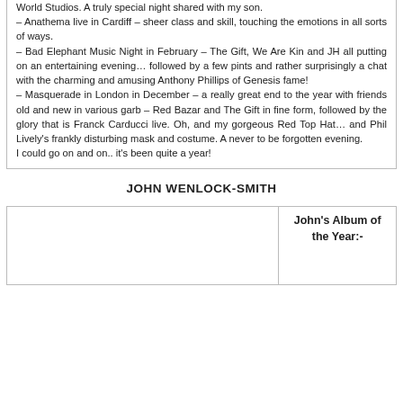World Studios. A truly special night shared with my son. – Anathema live in Cardiff – sheer class and skill, touching the emotions in all sorts of ways. – Bad Elephant Music Night in February – The Gift, We Are Kin and JH all putting on an entertaining evening… followed by a few pints and rather surprisingly a chat with the charming and amusing Anthony Phillips of Genesis fame! – Masquerade in London in December – a really great end to the year with friends old and new in various garb – Red Bazar and The Gift in fine form, followed by the glory that is Franck Carducci live. Oh, and my gorgeous Red Top Hat… and Phil Lively's frankly disturbing mask and costume. A never to be forgotten evening. I could go on and on.. it's been quite a year!
JOHN WENLOCK-SMITH
|  | John's Album of the Year:- |
| --- | --- |
|  |  |